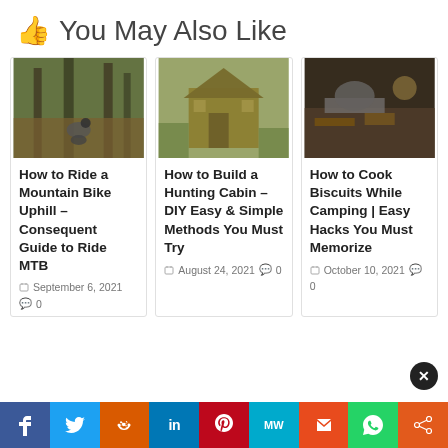You May Also Like
[Figure (photo): Mountain biker riding uphill through forest]
How to Ride a Mountain Bike Uphill – Consequent Guide to Ride MTB
September 6, 2021  0
[Figure (photo): Small wooden hunting cabin in the woods]
How to Build a Hunting Cabin – DIY Easy & Simple Methods You Must Try
August 24, 2021  0
[Figure (photo): Cast iron cooking over campfire outdoors]
How to Cook Biscuits While Camping | Easy Hacks You Must Memorize
October 10, 2021  0